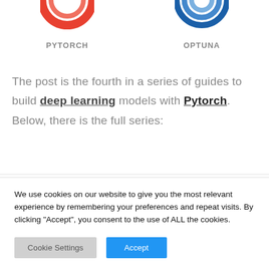[Figure (logo): PyTorch logo (red circular donut shape) partially visible at top]
PYTORCH
[Figure (logo): Optuna logo (blue concentric circles) partially visible at top]
OPTUNA
The post is the fourth in a series of guides to build deep learning models with Pytorch. Below, there is the full series:
We use cookies on our website to give you the most relevant experience by remembering your preferences and repeat visits. By clicking “Accept”, you consent to the use of ALL the cookies.